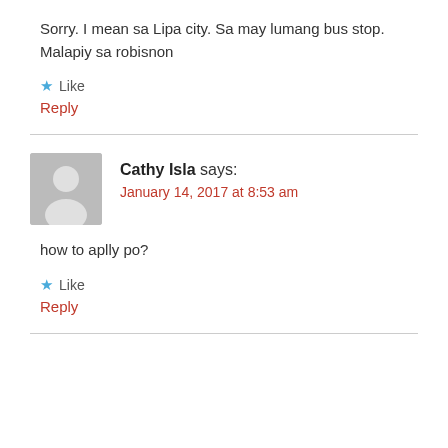Sorry. I mean sa Lipa city. Sa may lumang bus stop. Malapiy sa robisnon
★ Like
Reply
Cathy Isla says:
January 14, 2017 at 8:53 am
how to aplly po?
★ Like
Reply